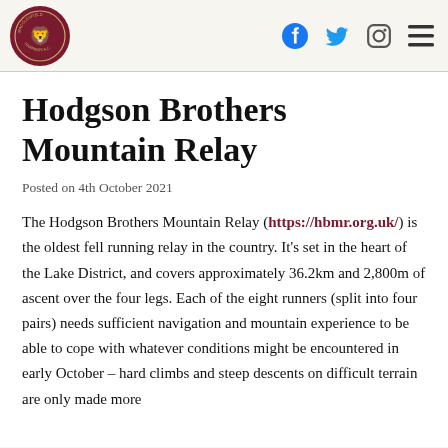Macclesfield Harriers A.C. logo and navigation icons
Hodgson Brothers Mountain Relay
Posted on 4th October 2021
The Hodgson Brothers Mountain Relay (https://hbmr.org.uk/) is the oldest fell running relay in the country. It's set in the heart of the Lake District, and covers approximately 36.2km and 2,800m of ascent over the four legs. Each of the eight runners (split into four pairs) needs sufficient navigation and mountain experience to be able to cope with whatever conditions might be encountered in early October – hard climbs and steep descents on difficult terrain are only made more